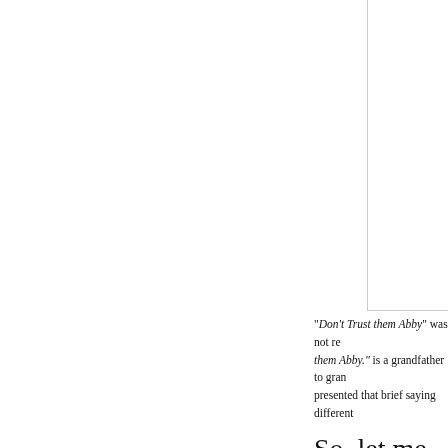[Figure (other): Partial image visible in upper right corner of the page, showing a white/light colored rectangular area with border]
“ Don’t Trust them Abby” was not re them Abby.” is a grandfather to gran presented that brief saying different
So, let me explain.
Four years ago our granddaughter A about personal safety prior to her d someone offering them something t deporting each other’s company. It'